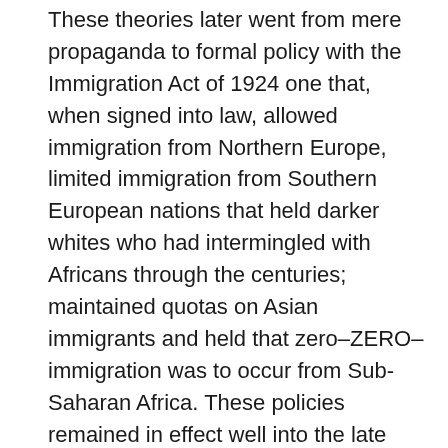These theories later went from mere propaganda to formal policy with the Immigration Act of 1924 one that, when signed into law, allowed immigration from Northern Europe, limited immigration from Southern European nations that held darker whites who had intermingled with Africans through the centuries; maintained quotas on Asian immigrants and held that zero–ZERO–immigration was to occur from Sub-Saharan Africa. These policies remained in effect well into the late 1960's.
Eugenics also forged the one tie between American Democracy and Nazi socialism in that during the so-called “Roaring 20’s,” many prominent white Americans and German Nazis all agreed that blacks were mentally inferior.
While some may suggest, “well, Hobbs, that was